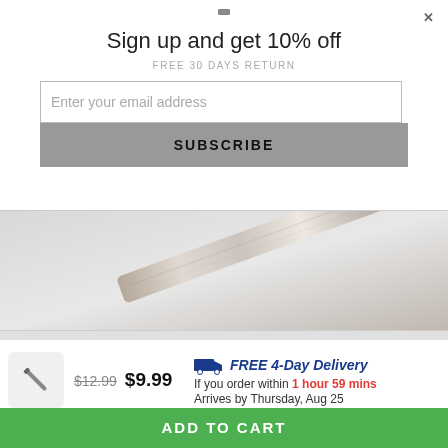Sign up and get 10% off
FREE 30 DAYS RETURN
Enter your email address
SUBSCRIBE
[Figure (photo): Background image showing what appears to be a metallic pen or tool at an angle on a light surface]
[Figure (photo): Small product thumbnail showing a small metallic pin or fastener]
$12.99  $9.99
FREE 4-Day Delivery
If you order within 1 hour 59 mins
Arrives by Thursday, Aug 25
— OR —
ADD TO CART